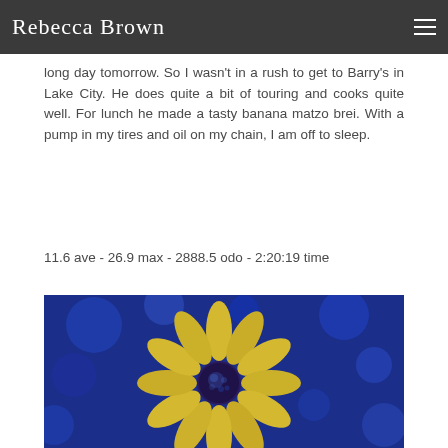Rebecca Brown
long day tomorrow. So I wasn't in a rush to get to Barry's in Lake City. He does quite a bit of touring and cooks quite well. For lunch he made a tasty banana matzo brei. With a pump in my tires and oil on my chain, I am off to sleep.
11.6 ave - 26.9 max - 2888.5 odo - 2:20:19 time
[Figure (photo): Close-up photograph of a yellow flower (daisy or coneflower) with a dark blue-purple center against a vivid blue background]